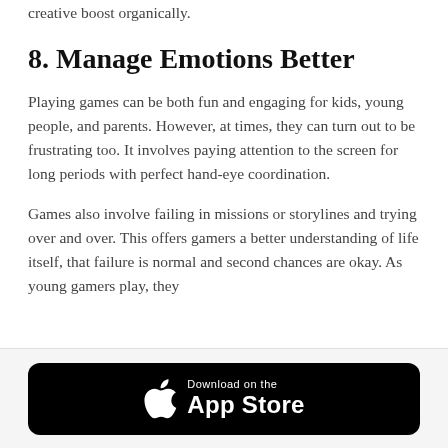creative boost organically.
8. Manage Emotions Better
Playing games can be both fun and engaging for kids, young people, and parents. However, at times, they can turn out to be frustrating too. It involves paying attention to the screen for long periods with perfect hand-eye coordination.
Games also involve failing in missions or storylines and trying over and over. This offers gamers a better understanding of life itself, that failure is normal and second chances are okay. As young gamers play, they
[Figure (other): Download on the App Store button]